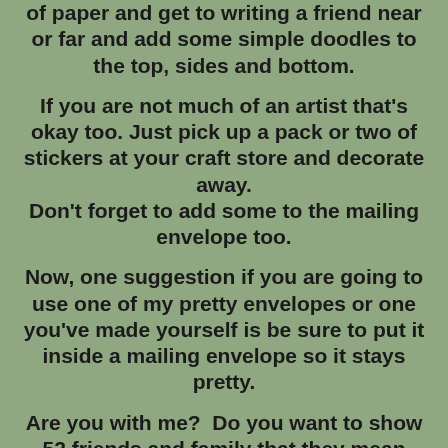of paper and get to writing a friend near or far and add some simple doodles to the top, sides and bottom.
If you are not much of an artist that's okay too. Just pick up a pack or two of stickers at your craft store and decorate away. Don't forget to add some to the mailing envelope too.
Now, one suggestion if you are going to use one of my pretty envelopes or one you've made yourself is be sure to put it inside a mailing envelope so it stays pretty.
Are you with me?  Do you want to show 52 friends and family that they mean more to you than a text message?  Okay then let's get started.
Rules: